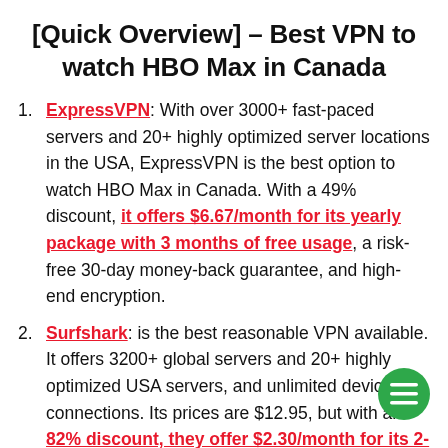[Quick Overview] – Best VPN to watch HBO Max in Canada
ExpressVPN: With over 3000+ fast-paced servers and 20+ highly optimized server locations in the USA, ExpressVPN is the best option to watch HBO Max in Canada. With a 49% discount, it offers $6.67/month for its yearly package with 3 months of free usage, a risk-free 30-day money-back guarantee, and high-end encryption.
Surfshark: is the best reasonable VPN available. It offers 3200+ global servers and 20+ highly optimized USA servers, and unlimited device connections. Its prices are $12.95, but with an 82% discount, they offer $2.30/month for its 2-